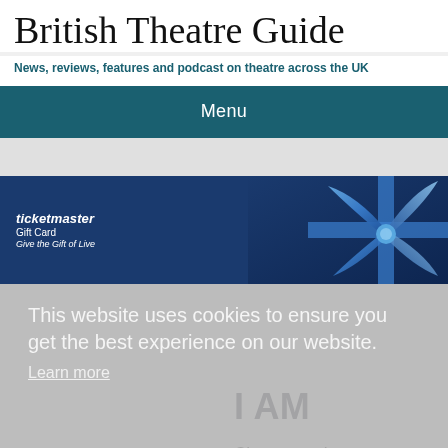British Theatre Guide
News, reviews, features and podcast on theatre across the UK
Menu
[Figure (photo): Ticketmaster Gift Card advertisement banner with blue ribbon bow on dark blue background. Text reads: ticketmaster Gift Card Give the Gift of Live]
This website uses cookies to ensure you get the best experience on our website.
Learn more
I AM
Got it!
Choreography, concept, design and direction by Lemi Ponifasio